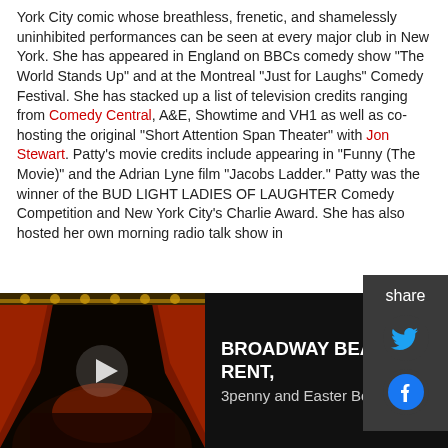York City comic whose breathless, frenetic, and shamelessly uninhibited performances can be seen at every major club in New York. She has appeared in England on BBCs comedy show "The World Stands Up" and at the Montreal "Just for Laughs" Comedy Festival. She has stacked up a list of television credits ranging from Comedy Central, A&E, Showtime and VH1 as well as co-hosting the original "Short Attention Span Theater" with Jon Stewart. Patty's movie credits include appearing in "Funny (The Movie)" and the Adrian Lyne film "Jacobs Ladder." Patty was the winner of the BUD LIGHT LADIES OF LAUGHTER Comedy Competition and New York City's Charlie Award. She has also hosted her own morning radio talk show in
[Figure (screenshot): Share sidebar with Twitter and Facebook icons on dark background]
[Figure (screenshot): Video player bar showing theatre interior with play button, titled BROADWAY BEAT - RENT, 3penny and Easter Bonnet]